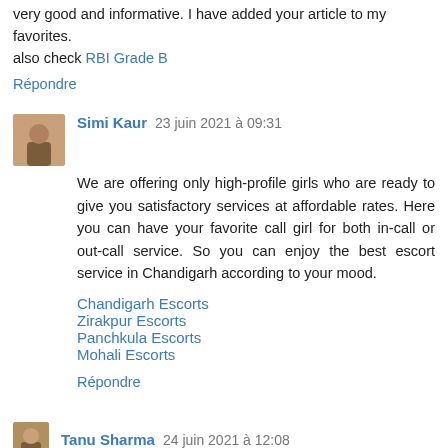very good and informative. I have added your article to my favorites.
also check RBI Grade B
Répondre
Simi Kaur  23 juin 2021 à 09:31
We are offering only high-profile girls who are ready to give you satisfactory services at affordable rates. Here you can have your favorite call girl for both in-call or out-call service. So you can enjoy the best escort service in Chandigarh according to your mood.
Chandigarh Escorts
Zirakpur Escorts
Panchkula Escorts
Mohali Escorts
Répondre
Tanu Sharma  24 juin 2021 à 12:08